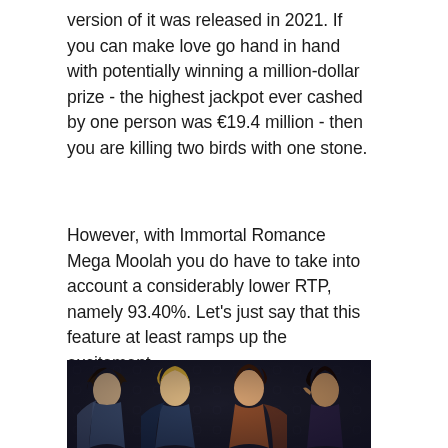version of it was released in 2021. If you can make love go hand in hand with potentially winning a million-dollar prize - the highest jackpot ever cashed by one person was €19.4 million - then you are killing two birds with one stone.
However, with Immortal Romance Mega Moolah you do have to take into account a considerably lower RTP, namely 93.40%. Let's just say that this feature at least ramps up the excitement.
[Figure (illustration): Promotional artwork showing four fantasy/vampire characters from Immortal Romance: two women and two men with dark, dramatic styling against a dark ornate background]